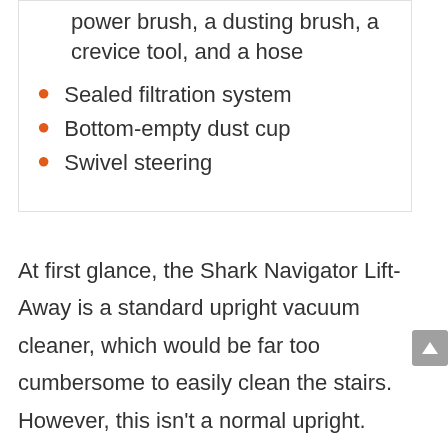power brush, a dusting brush, a crevice tool, and a hose
Sealed filtration system
Bottom-empty dust cup
Swivel steering
At first glance, the Shark Navigator Lift-Away is a standard upright vacuum cleaner, which would be far too cumbersome to easily clean the stairs. However, this isn't a normal upright. Shark have designed this model to be very versatile, which means that the canister